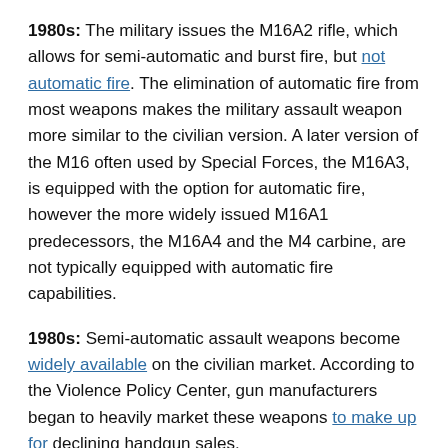1980s: The military issues the M16A2 rifle, which allows for semi-automatic and burst fire, but not automatic fire. The elimination of automatic fire from most weapons makes the military assault weapon more similar to the civilian version. A later version of the M16 often used by Special Forces, the M16A3, is equipped with the option for automatic fire, however the more widely issued M16A1 predecessors, the M16A4 and the M4 carbine, are not typically equipped with automatic fire capabilities.
1980s: Semi-automatic assault weapons become widely available on the civilian market. According to the Violence Policy Center, gun manufacturers began to heavily market these weapons to make up for declining handgun sales.
1982: Guns & Ammo magazine publishes a guide to semi-automatic assault weapons simply titled, Assault Rifles.